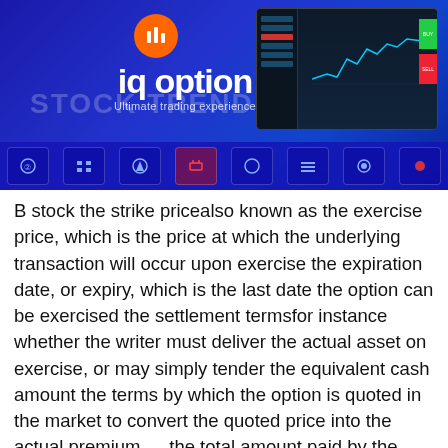[Figure (screenshot): IQ Option trading platform banner with logo, 'Ultimate trading experience' tagline, trading screen mockup with chart, and icon grid row at bottom. 'Stock Trend System' watermark text visible.]
B stock the strike pricealso known as the exercise price, which is the price at which the underlying transaction will occur upon exercise the expiration date, or expiry, which is the last date the option can be exercised the settlement termsfor instance whether the writer must deliver the actual asset on exercise, or may simply tender the equivalent cash amount the terms by which the option is quoted in the market to convert the quoted price into the actual premium — the total amount paid by the holder to the writer.